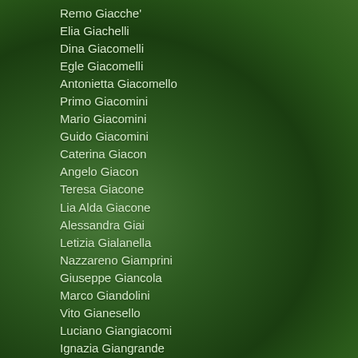Remo Giacche'
Elia Giachelli
Dina Giacomelli
Egle Giacomelli
Antonietta Giacomello
Primo Giacomini
Mario Giacomini
Guido Giacomini
Caterina Giacon
Angelo Giacon
Teresa Giacone
Lia Alda Giacone
Alessandra Giai
Letizia Gialanella
Nazzareno Giamprini
Giuseppe Giancola
Marco Giandolini
Vito Gianesello
Luciano Giangiacomi
Ignazia Giangrande
Calogero Gianguzzo
Katuscia Laura Giannatiempo
Angela Giannella
Raffaele Giannelli
Mario Giannitrapani
Fulvio Giannone
Marisa Giannotti
Gabriella Giannotti